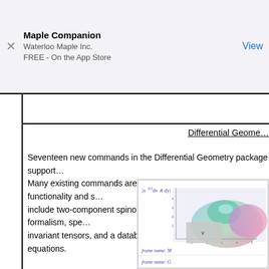Maple Companion
Waterloo Maple Inc.
FREE - On the App Store
View
Differential Geome…
Seventeen new commands in the Differential Geometry package support… Many existing commands are enhanced, offering more functionality and s… include two-component spinors and the Newman-Penrose formalism, spe… invariant tensors, and a database of solutions to the Einstein equations.
[Figure (screenshot): Screenshot of Maple software showing a 3D surface plot with colorful gradient surface and mathematical notation including |x^(3/2) dx ∧ dy| and labels 'frame name: M' and 'frame name: G']